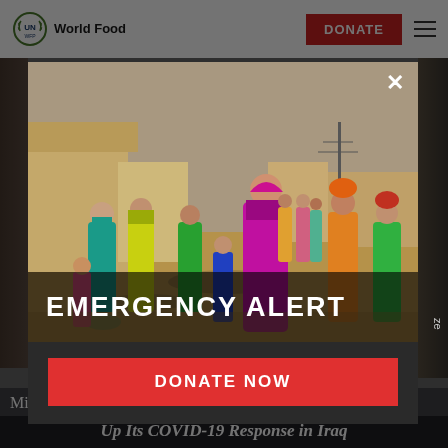UN WFP World Food | DONATE
[Figure (photo): Women and children in colorful saris and traditional clothing walking through a muddy area near earthen buildings, in what appears to be a flood-affected region. Emergency alert modal popup overlay showing this image.]
EMERGENCY ALERT
DONATE NOW
Millions have been left homeless and
Up Its COVID-19 Response in Iraq